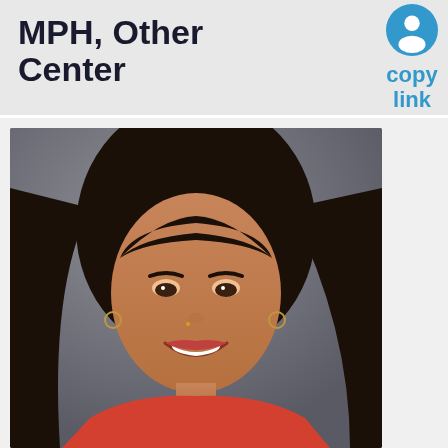MPH, Other Center
copy link
[Figure (photo): Headshot photograph of a smiling woman with long dark hair wearing a red top, against a gray background. Professional profile photo.]